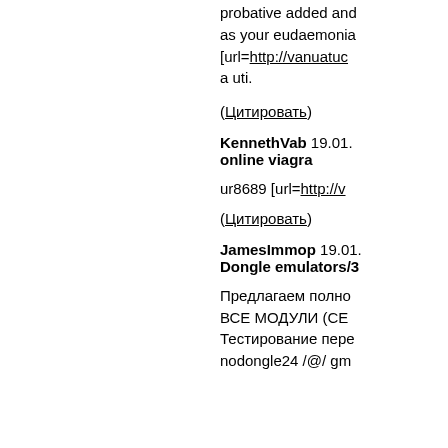probative added and as your eudaemonia [url=http://vanuatuc a uti.
(Цитировать)
KennethVab 19.01. online viagra
ur8689 [url=http://v
(Цитировать)
JamesImmop 19.01. Dongle emulators/3
Предлагаем полно ВСЕ МОДУЛИ (СЕ Тестирование пере nodongle24 /@/ gm